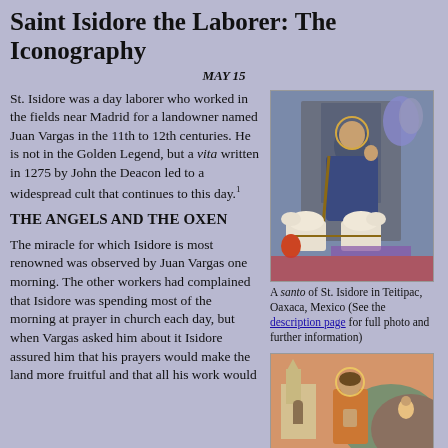Saint Isidore the Laborer: The Iconography
MAY 15
St. Isidore was a day laborer who worked in the fields near Madrid for a landowner named Juan Vargas in the 11th to 12th centuries. He is not in the Golden Legend, but a vita written in 1275 by John the Deacon led to a widespread cult that continues to this day.1
[Figure (photo): A santo of St. Isidore in Teitipac, Oaxaca, Mexico - colored statue with oxen]
A santo of St. Isidore in Teitipac, Oaxaca, Mexico (See the description page for full photo and further information)
THE ANGELS AND THE OXEN
The miracle for which Isidore is most renowned was observed by Juan Vargas one morning. The other workers had complained that Isidore was spending most of the morning at prayer in church each day, but when Vargas asked him about it Isidore assured him that his prayers would make the land more fruitful and that all his work would
[Figure (photo): A painting of St. Isidore praying with a church in the background]